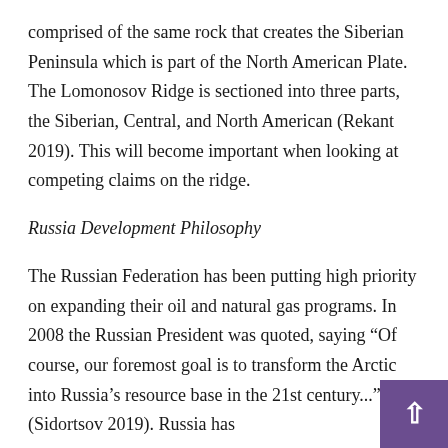comprised of the same rock that creates the Siberian Peninsula which is part of the North American Plate. The Lomonosov Ridge is sectioned into three parts, the Siberian, Central, and North American (Rekant 2019). This will become important when looking at competing claims on the ridge.
Russia Development Philosophy
The Russian Federation has been putting high priority on expanding their oil and natural gas programs. In 2008 the Russian President was quoted, saying “Of course, our foremost goal is to transform the Arctic into Russia’s resource base in the 21st century...” (Sidortsov 2019). Russia has